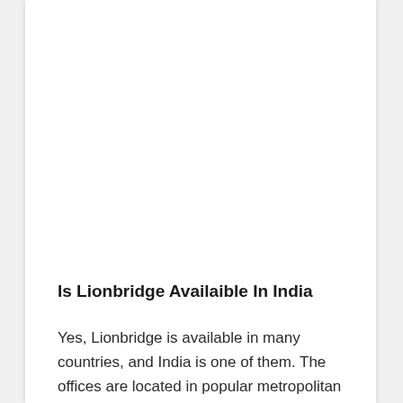Is Lionbridge Availaible In India
Yes, Lionbridge is available in many countries, and India is one of them. The offices are located in popular metropolitan cities like Mumbai,